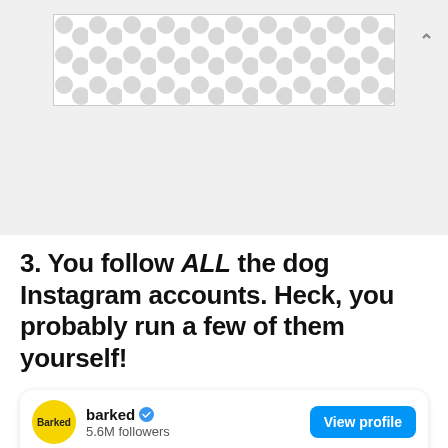[Figure (other): Advertisement banner placeholder with polka dot pattern, collapse chevron arrow top right]
[Figure (screenshot): Instagram profile card for 'barked' account showing 5.6M followers with a blue verified checkmark, View profile button, dog photo with 'Find more in the app!' pink button overlay]
3. You follow ALL the dog Instagram accounts. Heck, you probably run a few of them yourself!